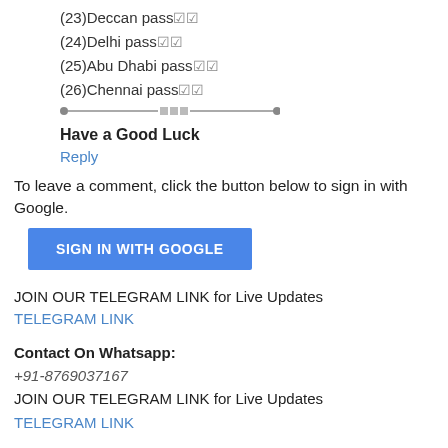(23)Deccan pass ☑☑
(24)Delhi pass ☑☑
(25)Abu Dhabi pass ☑☑
(26)Chennai pass ☑☑
Have a Good Luck
Reply
To leave a comment, click the button below to sign in with Google.
[Figure (other): SIGN IN WITH GOOGLE button (blue)]
JOIN OUR TELEGRAM LINK for Live Updates
TELEGRAM LINK
Contact On Whatsapp: +91-8769037167 JOIN OUR TELEGRAM LINK for Live Updates TELEGRAM LINK